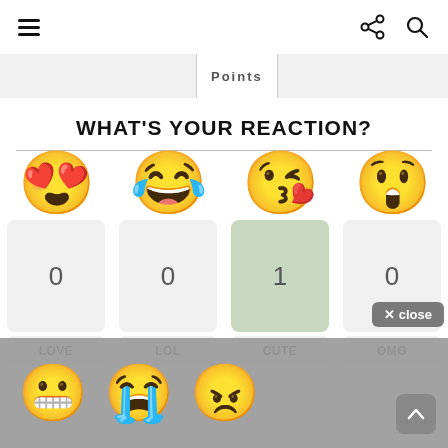≡   Points   share   search
WHAT'S YOUR REACTION?
[Figure (infographic): Four emoji reaction options: LOVE (heart-eyes emoji, count 0), LOL (laughing emoji, count 0), CUTE (kiss emoji, count 1, selected/highlighted in green), OMG (shocked emoji, count 0)]
[Figure (infographic): Bottom overlay with three additional emoji reactions (scared/nervous, crying, angry) and a close button and scroll-up button]